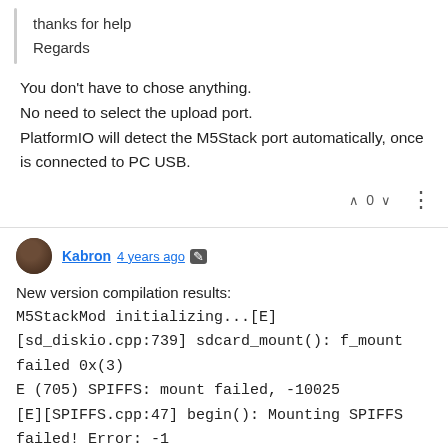thanks for help
Regards
You don't have to chose anything.
No need to select the upload port.
PlatformIO will detect the M5Stack port automatically, once is connected to PC USB.
Kabron 4 years ago
New version compilation results:
M5StackMod initializing...[E][sd_diskio.cpp:739] sdcard_mount(): f_mount failed 0x(3)
E (705) SPIFFS: mount failed, -10025
[E][SPIFFS.cpp:47] begin(): Mounting SPIFFS failed! Error: -1
OK
[E][Preferences.cpp:330] getUShort(): nvs_get_u16 fail: light NOT_FOUND
and nothing more...